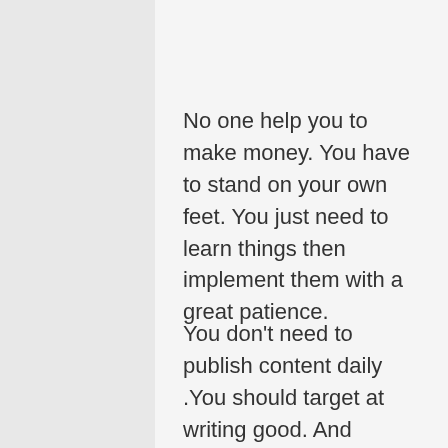No one help you to make money. You have to stand on your own feet. You just need to learn things then implement them with a great patience.
You don't need to publish content daily .You should target at writing good. And